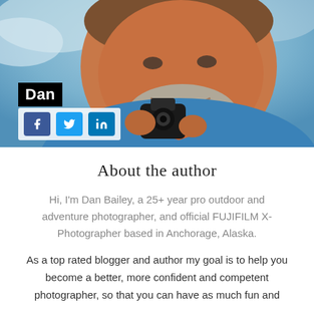[Figure (photo): Portrait photo of a man (Dan Bailey) holding a camera, smiling, wearing a blue jacket, with snowy mountains in background. A black name tag 'Dan' overlay is visible, along with social media buttons for Facebook, Twitter, and LinkedIn.]
About the author
Hi, I'm Dan Bailey, a 25+ year pro outdoor and adventure photographer, and official FUJIFILM X-Photographer based in Anchorage, Alaska.
As a top rated blogger and author my goal is to help you become a better, more confident and competent photographer, so that you can have as much fun and